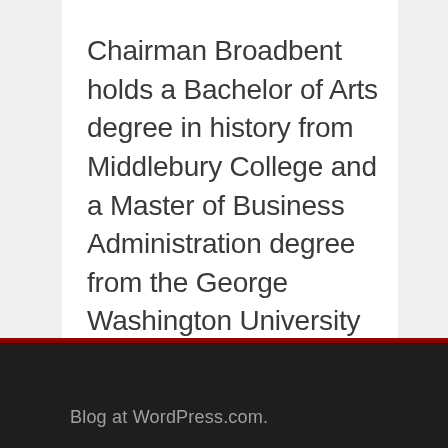Chairman Broadbent holds a Bachelor of Arts degree in history from Middlebury College and a Master of Business Administration degree from the George Washington University School of Business and Public Management.
Blog at WordPress.com.